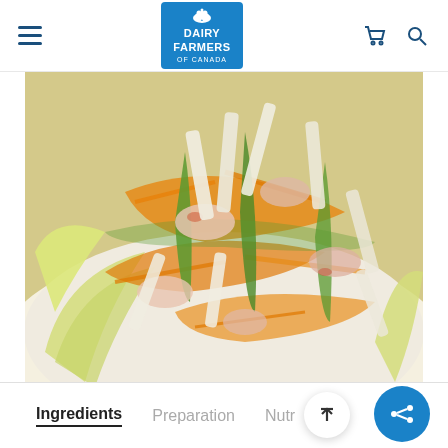Dairy Farmers of Canada — navigation header with hamburger menu, logo, cart and search icons
[Figure (photo): Close-up photo of a salad in a white bowl containing endive leaves, asparagus, shredded carrots, crab meat, and julienned cheese (likely Canadian cheddar or similar), on a light background.]
Ingredients   Preparation   Nutr...